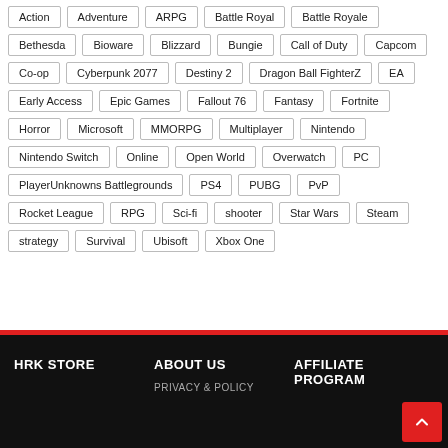Action
Adventure
ARPG
Battle Royal
Battle Royale
Bethesda
Bioware
Blizzard
Bungie
Call of Duty
Capcom
Co-op
Cyberpunk 2077
Destiny 2
Dragon Ball FighterZ
EA
Early Access
Epic Games
Fallout 76
Fantasy
Fortnite
Horror
Microsoft
MMORPG
Multiplayer
Nintendo
Nintendo Switch
Online
Open World
Overwatch
PC
PlayerUnknowns Battlegrounds
PS4
PUBG
PvP
Rocket League
RPG
Sci-fi
shooter
Star Wars
Steam
strategy
Survival
Ubisoft
Xbox One
HRK STORE   ABOUT US   AFFILIATE PROGRAM   PRIVACY & POLICY